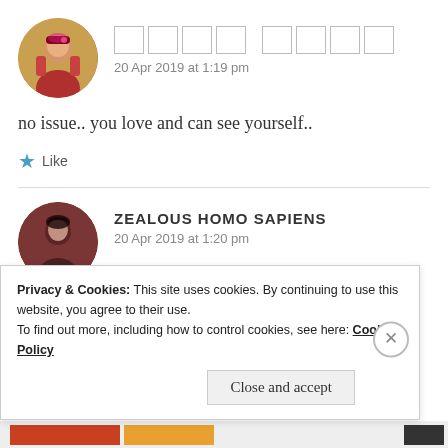[Figure (photo): Circular avatar of a woman in traditional Indian attire with decorative background]
20 Apr 2019 at 1:19 pm
no issue.. you love and can see yourself..
Like
[Figure (photo): Circular avatar of a dark-haired person with reddish-brown background]
ZEALOUS HOMO SAPIENS
20 Apr 2019 at 1:20 pm
Privacy & Cookies: This site uses cookies. By continuing to use this website, you agree to their use.
To find out more, including how to control cookies, see here: Cookie Policy
Close and accept